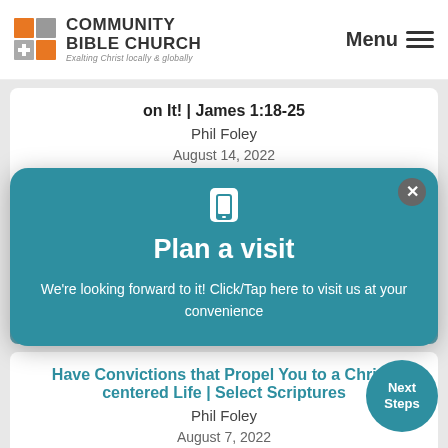Community Bible Church — Exalting Christ locally & globally | Menu
on It! | James 1:18-25
Phil Foley
August 14, 2022
Listen
Affirm The Power Of God's Sufficient Word | 2 Timothy 3:1-5, 14-17
Mike Lucas
August 14, 2022
[Figure (screenshot): Plan a visit modal overlay on teal background with close button and phone icon. Title: Plan a visit. Body text: We're looking forward to it! Click/Tap here to visit us at your convenience]
Have Convictions that Propel You to a Christ-centered Life | Select Scriptures
Phil Foley
August 7, 2022
Listen